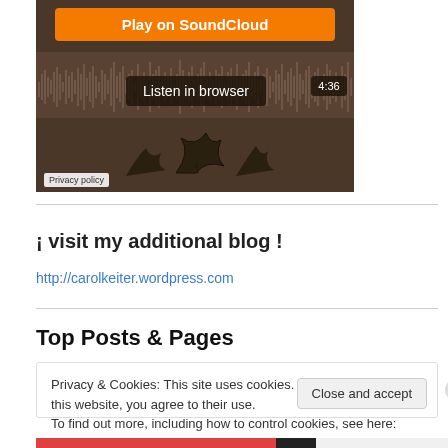[Figure (screenshot): SoundCloud embedded player widget showing 'Play on SoundCloud' orange button, waveform, 'Listen in browser' overlay, time 4:36, tree illustration, and Privacy policy label]
¡ visit my additional blog !
http://carolkeiter.wordpress.com
Top Posts & Pages
Privacy & Cookies: This site uses cookies. By continuing to use this website, you agree to their use.
To find out more, including how to control cookies, see here: Cookie Policy